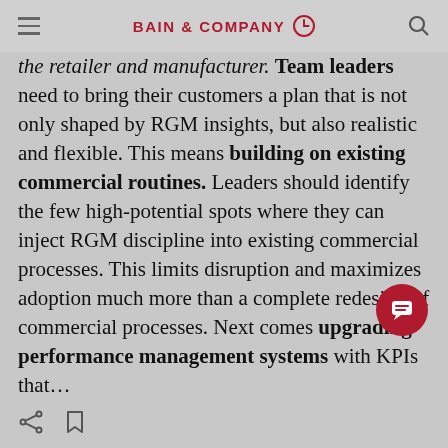BAIN & COMPANY
the retailer and manufacturer. Team leaders need to bring their customers a plan that is not only shaped by RGM insights, but also realistic and flexible. This means building on existing commercial routines. Leaders should identify the few high-potential spots where they can inject RGM discipline into existing commercial processes. This limits disruption and maximizes adoption much more than a complete redesign of commercial processes. Next comes upgrading performance management systems with KPIs that…